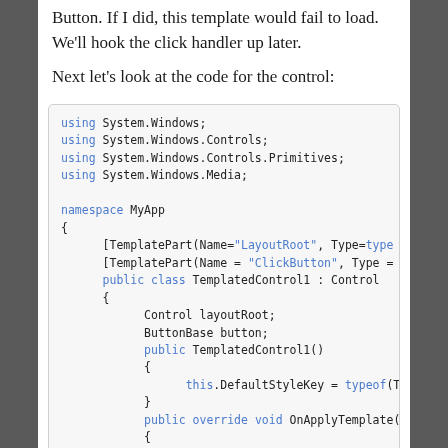Button. If I did, this template would fail to load. We'll hook the click handler up later.
Next let's look at the code for the control:
[Figure (screenshot): Code block showing C# source code for a templated WPF control named TemplatedControl1, including using directives for System.Windows, System.Windows.Controls, System.Windows.Controls.Primitives, System.Windows.Media, a namespace declaration for MyApp, TemplatePart attributes for LayoutRoot and ClickButton, a public class declaration inheriting Control, field declarations for Control layoutRoot and ButtonBase button, a public constructor setting DefaultStyleKey using typeof, and a public override void OnApplyTemplate() method.]